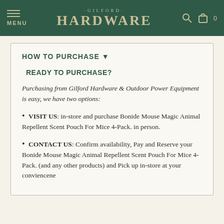MENU · GILFORD HARDWARE · Search · Cart 0
HOW TO PURCHASE ▼
READY TO PURCHASE?
Purchasing from Gilford Hardware & Outdoor Power Equipment is easy, we have two options:
VISIT US: in-store and purchase Bonide Mouse Magic Animal Repellent Scent Pouch For Mice 4-Pack. in person.
CONTACT US: Confirm availability, Pay and Reserve your Bonide Mouse Magic Animal Repellent Scent Pouch For Mice 4-Pack. (and any other products) and Pick up in-store at your conviencene